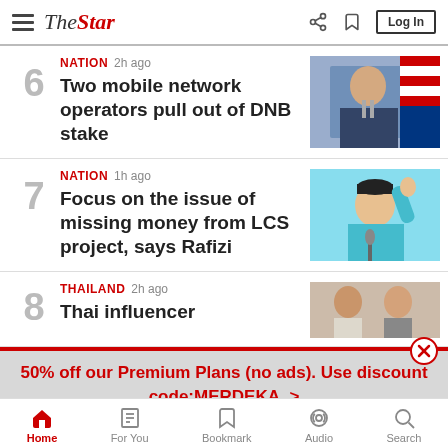The Star - Log In
6 NATION 2h ago - Two mobile network operators pull out of DNB stake
7 NATION 1h ago - Focus on the issue of missing money from LCS project, says Rafizi
8 THAILAND 2h ago - Thai influencer
50% off our Premium Plans (no ads). Use discount code:MERDEKA. >
Home | For You | Bookmark | Audio | Search